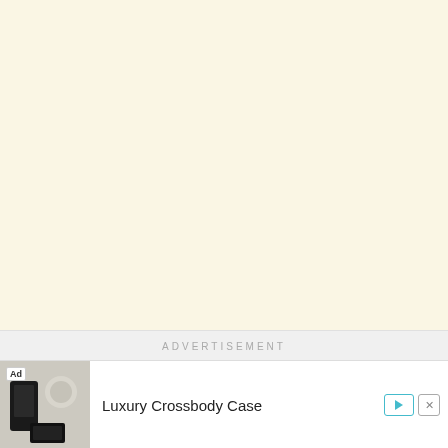[Figure (other): Large blank cream/off-white area representing an empty page background]
ADVERTISEMENT
[Figure (other): Ad banner with product image of Luxury Crossbody Case, showing black phone cases on a light background. Contains Ad label, play button, and close (X) button.]